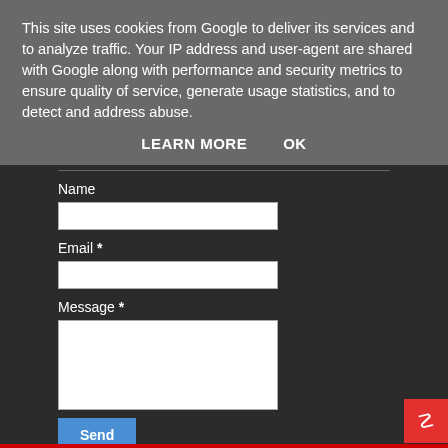This site uses cookies from Google to deliver its services and to analyze traffic. Your IP address and user-agent are shared with Google along with performance and security metrics to ensure quality of service, generate usage statistics, and to detect and address abuse.
LEARN MORE    OK
Name
Email *
Message *
Send